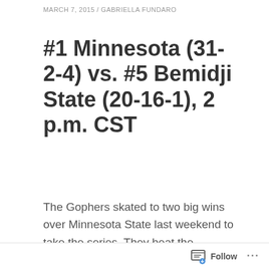MARCH 7, 2015 / GABRIELLA FUNDARO
#1 Minnesota (31-2-4) vs. #5 Bemidji State (20-16-1), 2 p.m. CST
The Gophers skated to two big wins over Minnesota State last weekend to take the series. They beat the Mavericks 10-0 on Friday and then closed out the sweep with a 5-1 win. Dani Cameranesi led Minnesota with two goals and six points in the first victory. In game two, Maryanne Menefee scored twice to get the scoring started after a first period that saw Minnesota State